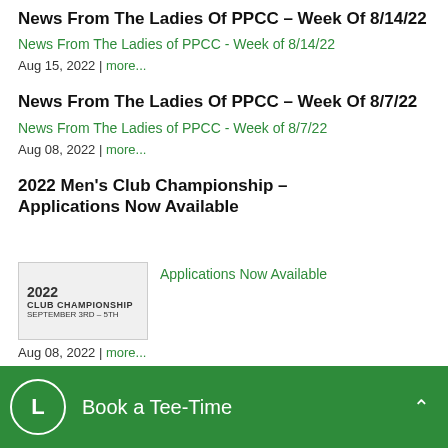News From The Ladies Of PPCC – Week Of 8/14/22
News From The Ladies of PPCC - Week of 8/14/22
Aug 15, 2022 | more...
News From The Ladies Of PPCC – Week Of 8/7/22
News From The Ladies of PPCC - Week of 8/7/22
Aug 08, 2022 | more...
2022 Men's Club Championship – Applications Now Available
[Figure (other): 2022 Club Championship September 3rd - 5th promotional image]
Applications Now Available
Aug 08, 2022 | more...
Book a Tee-Time